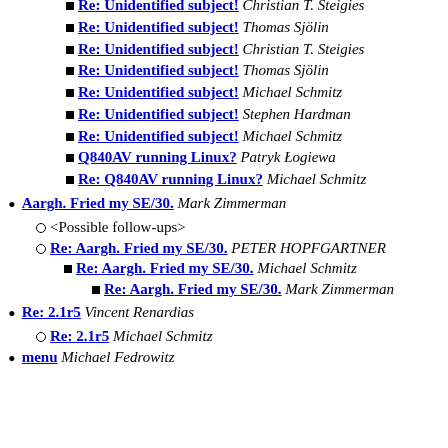Re: Unidentified subject! Christian T. Steigies
Re: Unidentified subject! Thomas Sjölin
Re: Unidentified subject! Christian T. Steigies
Re: Unidentified subject! Thomas Sjölin
Re: Unidentified subject! Michael Schmitz
Re: Unidentified subject! Stephen Hardman
Re: Unidentified subject! Michael Schmitz
Q840AV running Linux? Patryk Łogiewa
Re: Q840AV running Linux? Michael Schmitz
Aargh. Fried my SE/30. Mark Zimmerman
<Possible follow-ups>
Re: Aargh. Fried my SE/30. PETER HOPFGARTNER
Re: Aargh. Fried my SE/30. Michael Schmitz
Re: Aargh. Fried my SE/30. Mark Zimmerman
Re: 2.1r5 Vincent Renardias
Re: 2.1r5 Michael Schmitz
menu Michael Fedrowitz